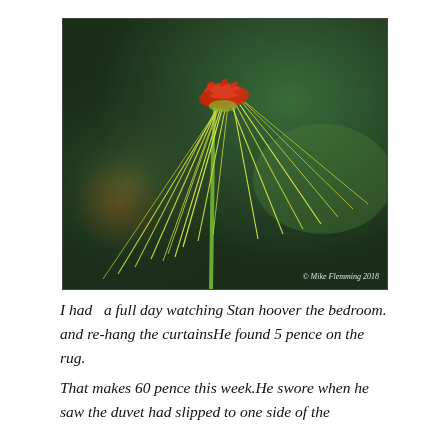[Figure (photo): Close-up macro photograph of an exotic flower with a green stem, red/orange top cluster, and long drooping yellow-green filaments/stamens, against a blurred dark green background. Watermark reads '© Mike Flemming 2018'.]
I had  a full day watching Stan hoover the bedroom. and re-hang the curtainsHe found 5 pence on the rug.
That makes 60 pence this week.He swore when he saw the duvet had slipped to one side of the